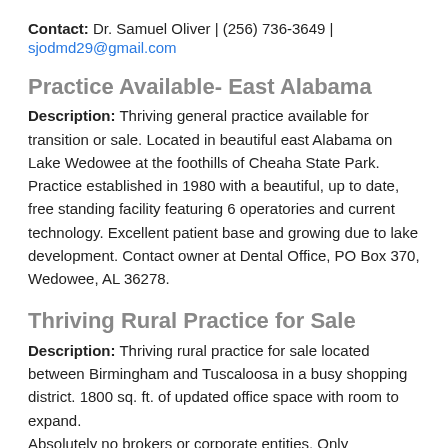Contact: Dr. Samuel Oliver | (256) 736-3649 | sjodmd29@gmail.com
Practice Available- East Alabama
Description: Thriving general practice available for transition or sale. Located in beautiful east Alabama on Lake Wedowee at the foothills of Cheaha State Park. Practice established in 1980 with a beautiful, up to date, free standing facility featuring 6 operatories and current technology. Excellent patient base and growing due to lake development. Contact owner at Dental Office, PO Box 370, Wedowee, AL 36278.
Thriving Rural Practice for Sale
Description: Thriving rural practice for sale located between Birmingham and Tuscaloosa in a busy shopping district. 1800 sq. ft. of updated office space with room to expand. Absolutely no brokers or corporate entities. Only individuals who are looking to personally invest in patients and the community.